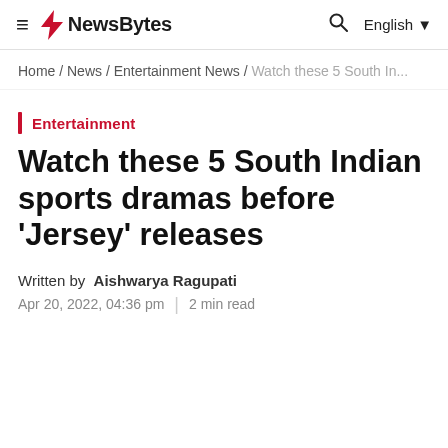≡ NewsBytes | Q | English ▼
Home / News / Entertainment News / Watch these 5 South In...
Entertainment
Watch these 5 South Indian sports dramas before 'Jersey' releases
Written by Aishwarya Ragupati
Apr 20, 2022, 04:36 pm | 2 min read